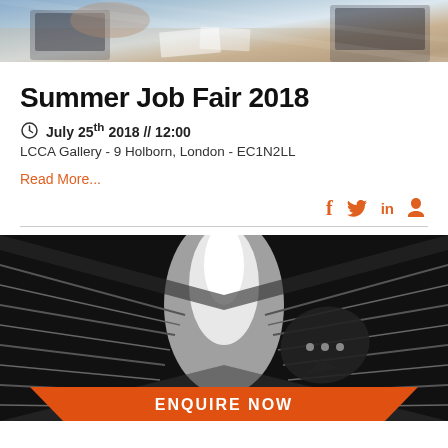[Figure (photo): Top banner photo showing people working at a desk with laptops and papers, partially cropped]
Summer Job Fair 2018
July 25th 2018 // 12:00
LCCA Gallery - 9 Holborn, London - EC1N2LL
Read More...
[Figure (photo): Black and white photo of an escalator tunnel with bright light at the end, with a dark chat bubble icon overlay showing three dots]
ENQUIRE NOW